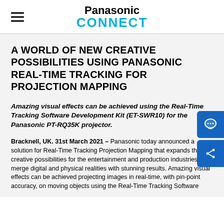Panasonic CONNECT
A WORLD OF NEW CREATIVE POSSIBILITIES USING PANASONIC REAL-TIME TRACKING FOR PROJECTION MAPPING
Amazing visual effects can be achieved using the Real-Time Tracking Software Development Kit (ET-SWR10) for the Panasonic PT-RQ35K projector.
Bracknell, UK. 31st March 2021 – Panasonic today announced a solution for Real-Time Tracking Projection Mapping that expands the creative possibilities for the entertainment and production industries to merge digital and physical realities with stunning results. Amazing visual effects can be achieved projecting images in real-time, with pin-point accuracy, on moving objects using the Real-Time Tracking Software